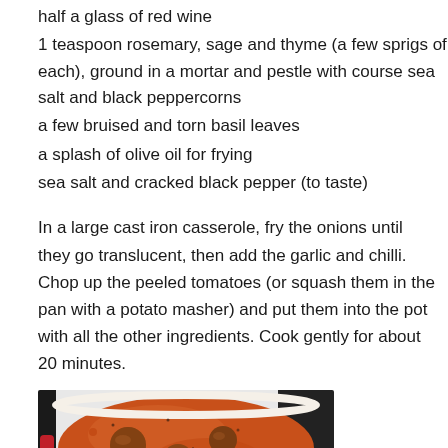half a glass of red wine
1 teaspoon rosemary, sage and thyme (a few sprigs of each), ground in a mortar and pestle with course sea salt and black peppercorns
a few bruised and torn basil leaves
a splash of olive oil for frying
sea salt and cracked black pepper (to taste)
In a large cast iron casserole, fry the onions until they go translucent, then add the garlic and chilli. Chop up the peeled tomatoes (or squash them in the pan with a potato masher) and put them into the pot with all the other ingredients. Cook gently for about 20 minutes.
[Figure (photo): Overhead view of a red cast iron casserole pot containing meatballs in a rich tomato sauce]